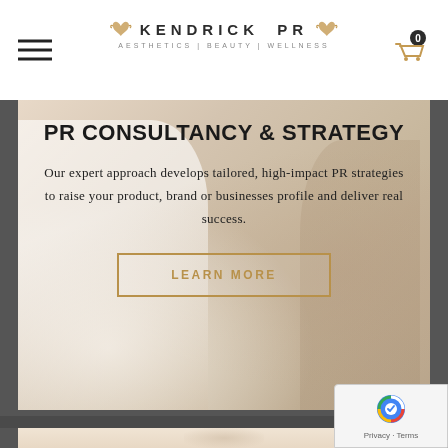Kendrick PR — Aesthetics | Beauty | Wellness
PR CONSULTANCY & STRATEGY
Our expert approach develops tailored, high-impact PR strategies to raise your product, brand or businesses profile and deliver real success.
[Figure (other): LEARN MORE button with gold border]
[Figure (photo): Background photo of two women in a professional consultation setting, warm beige tones. Partial view of a second woman visible at bottom of page.]